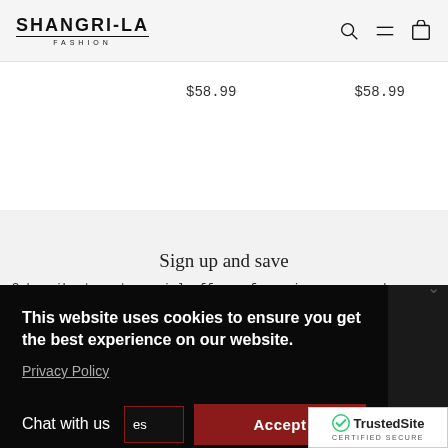SHANGRI-LA FASHION
$58.99   $58.99
Sign up and save
Subscribe to get special offers, free giveaways, and once-in-
This website uses cookies to ensure you get the best experience on our website. Privacy Policy
Chat with us   es   Accept
[Figure (screenshot): TrustedSite CERTIFIED SECURE badge in bottom right corner]